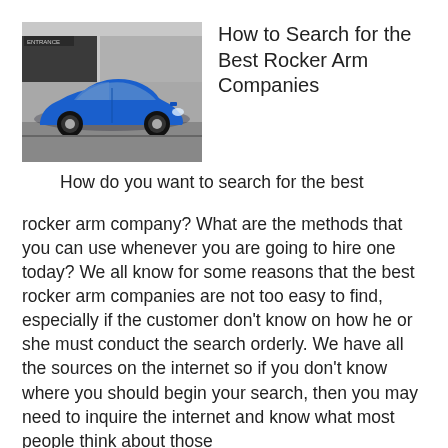[Figure (photo): A blue BMW sedan parked in front of a building with a garage entrance sign.]
How to Search for the Best Rocker Arm Companies
How do you want to search for the best rocker arm company? What are the methods that you can use whenever you are going to hire one today? We all know for some reasons that the best rocker arm companies are not too easy to find, especially if the customer don’t know on how he or she must conduct the search orderly. We have all the sources on the internet so if you don’t know where you should begin your search, then you may need to inquire the internet and know what most people think about those